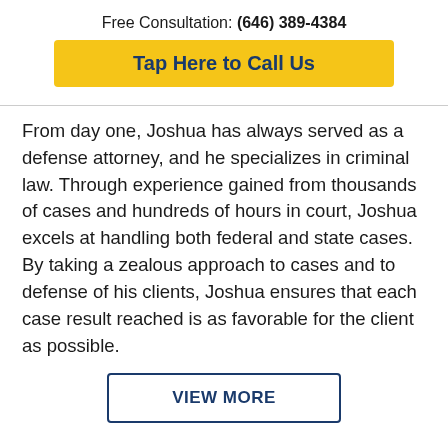Free Consultation: (646) 389-4384
Tap Here to Call Us
From day one, Joshua has always served as a defense attorney, and he specializes in criminal law. Through experience gained from thousands of cases and hundreds of hours in court, Joshua excels at handling both federal and state cases. By taking a zealous approach to cases and to defense of his clients, Joshua ensures that each case result reached is as favorable for the client as possible.
VIEW MORE